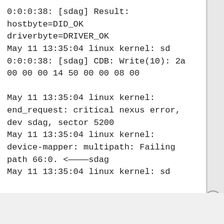0:0:0:38: [sdag] Result:
hostbyte=DID_OK
driverbyte=DRIVER_OK
May 11 13:35:04 linux kernel: sd 0:0:0:38: [sdag] CDB: Write(10): 2a 00 00 00 14 50 00 00 08 00

May 11 13:35:04 linux kernel: end_request: critical nexus error, dev sdag, sector 5200
May 11 13:35:04 linux kernel: device-mapper: multipath: Failing path 66:0. <————sdag
May 11 13:35:04 linux kernel: sd
Advertisements
[Figure (other): Automattic advertisement banner with text 'Love working again.' on blue background]